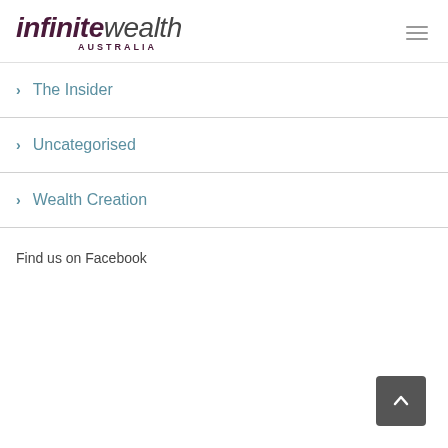infinite wealth AUSTRALIA
The Insider
Uncategorised
Wealth Creation
Find us on Facebook